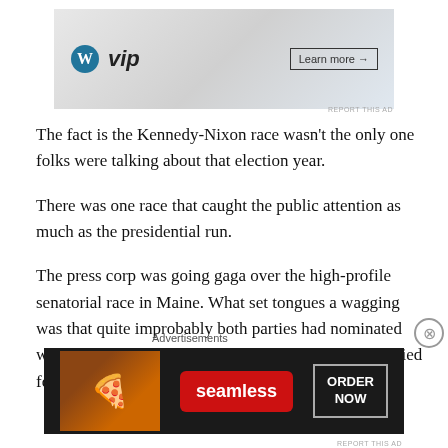[Figure (screenshot): Advertisement banner showing WordPress VIP logo with financial app icons and a 'Learn more' button]
The fact is the Kennedy-Nixon race wasn't the only one folks were talking about that election year.
There was one race that caught the public attention as much as the presidential run.
The press corp was going gaga over the high-profile senatorial race in Maine. What set tongues a wagging was that quite improbably both parties had nominated women, marking the first time two women had ever vied for the same Senate seat.
Advertisements
[Figure (screenshot): Seamless food delivery advertisement showing pizza with ORDER NOW button on dark background]